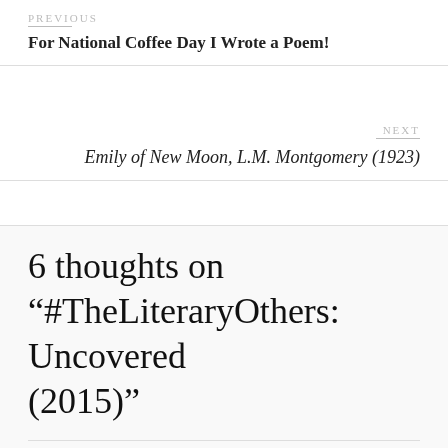PREVIOUS
For National Coffee Day I Wrote a Poem!
NEXT
Emily of New Moon, L.M. Montgomery (1923)
6 thoughts on “#TheLiteraryOthers: Uncovered (2015)”
DoingDewey